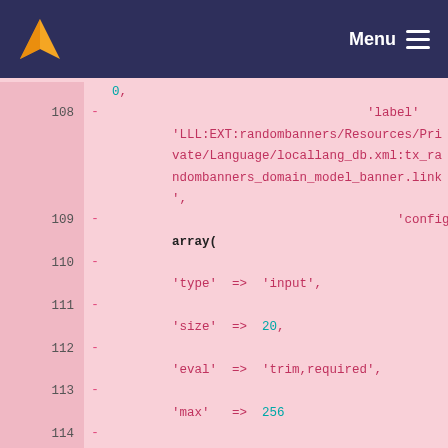Menu
[Figure (screenshot): Code diff view showing PHP array configuration lines 108-116 with line numbers, minus signs indicating removed lines, and syntax-highlighted code on pink background.]